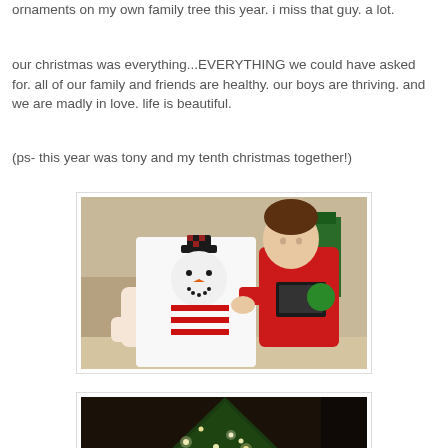ornaments on my own family tree this year. i miss that guy. a lot.
our christmas was everything...EVERYTHING we could have asked for. all of our family and friends are healthy. our boys are thriving. and we are madly in love. life is beautiful.
(ps- this year was tony and my tenth christmas together!)
[Figure (photo): A toddler in a red long-sleeve shirt examining a snowman-themed item (shirt or bag with a snowman face wearing a black hat and red/white striped scarf) being held by an adult. Christmas decorations visible in background.]
[Figure (photo): A Christmas tree with lights, partially visible at bottom of page.]